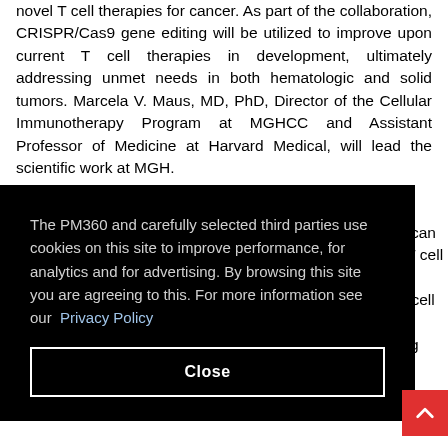novel T cell therapies for cancer. As part of the collaboration, CRISPR/Cas9 gene editing will be utilized to improve upon current T cell therapies in development, ultimately addressing unmet needs in both hematologic and solid tumors. Marcela V. Maus, MD, PhD, Director of the Cellular Immunotherapy Program at MGHCC and Assistant Professor of Medicine at Harvard Medical, will lead the scientific work at MGH.
The PM360 and carefully selected third parties use cookies on this site to improve performance, for analytics and for advertising. By browsing this site you are agreeing to this. For more information see our Privacy Policy
Close
9 can f T cell ng T cell d ing o-